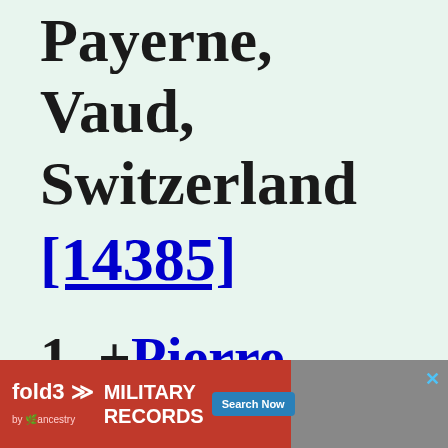Payerne, Vaud, Switzerland [14385]
1. +Pierre GACHET (b. ABT 1475, d.
[Figure (other): fold3 by Ancestry advertisement banner — Military Records, Search Now button]